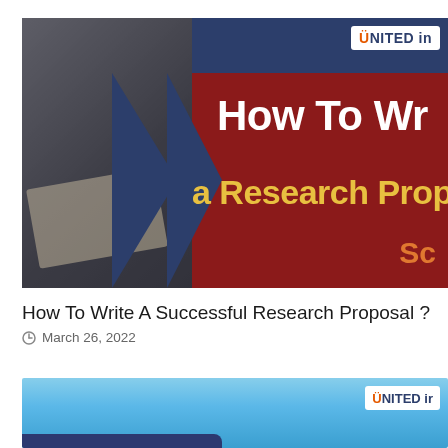[Figure (illustration): Banner image with dark blue and dark red background showing 'How To Wr[ite] a Research Prop[osal]' in large bold white and yellow text. Left side has a photo of a person writing/studying. A dark blue chevron arrow shape divides the image. Top right has a white UNITED in[novation] logo box. Bottom right shows 'Sc' in orange text.]
How To Write A Successful Research Proposal ?
March 26, 2022
[Figure (illustration): Partial banner image with light blue sky background. Top right shows a white UNITED ir[...] logo box. Bottom left has a dark navy blue strip.]